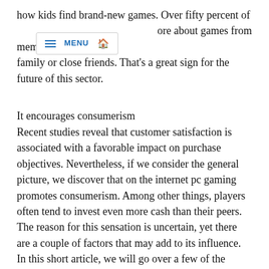how kids find brand-new games. Over fifty percent of children ore about games from member of the family or close friends. That's a great sign for the future of this sector.
It encourages consumerism
Recent studies reveal that customer satisfaction is associated with a favorable impact on purchase objectives. Nevertheless, if we consider the general picture, we discover that on the internet pc gaming promotes consumerism. Among other things, players often tend to invest even more cash than their peers. The reason for this sensation is uncertain, yet there are a couple of factors that may add to its influence. In this short article, we will go over a few of the variables that influence the quantity of cash people invest in pc gaming.
Initially, on the internet video games often consist of skins, which act as a money in online gambling